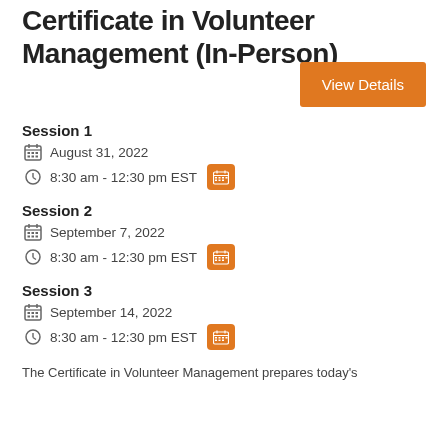Certificate in Volunteer Management (In-Person)
[Figure (other): Orange 'View Details' button]
Session 1
August 31, 2022
8:30 am - 12:30 pm EST
Session 2
September 7, 2022
8:30 am - 12:30 pm EST
Session 3
September 14, 2022
8:30 am - 12:30 pm EST
The Certificate in Volunteer Management prepares today's